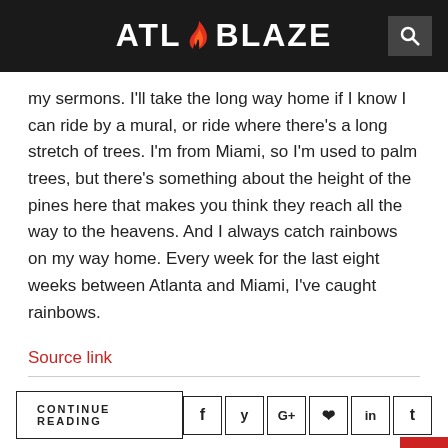ATL BLAZE
my sermons. I'll take the long way home if I know I can ride by a mural, or ride where there's a long stretch of trees. I'm from Miami, so I'm used to palm trees, but there's something about the height of the pines here that makes you think they reach all the way to the heavens. And I always catch rainbows on my way home. Every week for the last eight weeks between Atlanta and Miami, I've caught rainbows.
Source link
CONTINUE READING